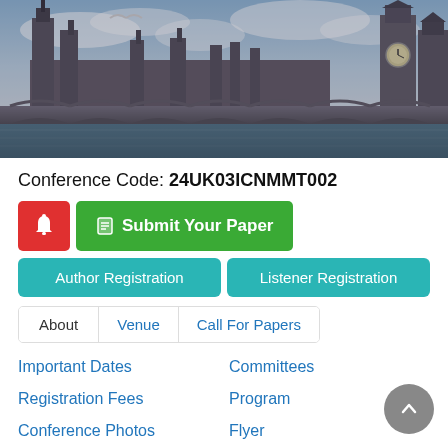[Figure (photo): London skyline panorama showing Westminster Palace, Big Ben, Westminster Bridge over the Thames, with a seagull flying overhead and a dramatic cloudy sky.]
Conference Code: 24UK03ICNMMT002
🔔 Submit Your Paper
Author Registration  Listener Registration
About
Venue
Call For Papers
Important Dates
Committees
Registration Fees
Program
Conference Photos
Flyer